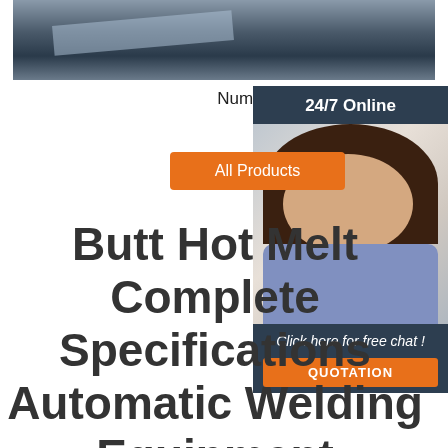[Figure (photo): Close-up photo of a numerical control pipe cutting band saw machine, showing metal machinery parts]
Numerical Control Pipe Cutting Band Saw Machine
[Figure (photo): Customer service representative sidebar with 24/7 Online support banner, photo of a woman with headset smiling, Click here for free chat text, and QUOTATION button]
All Products
Butt Hot Melt Complete Specifications Automatic Welding Equipment